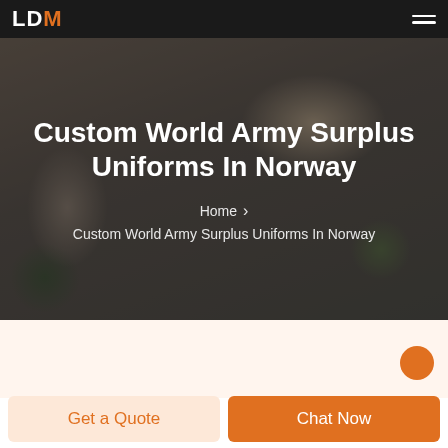LDM
Custom World Army Surplus Uniforms In Norway
Home > Custom World Army Surplus Uniforms In Norway
[Figure (photo): Background photo of people playing Jenga/block stacking game, darkened with overlay]
Get a Quote
Chat Now